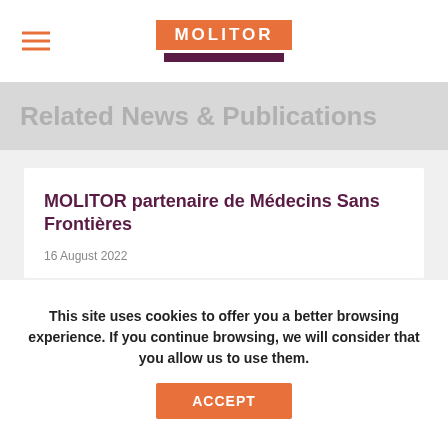MOLITOR
Related News & Publications
MOLITOR partenaire de Médecins Sans Frontières
16 August 2022
MOLITOR s'engage auprès de MSF Luxembourg grâce à un partenariat signé entre Roger Martinez-Dolz, Directeur Général de MSF Luxembourg, Me Michel Molitor, Managing Partner, et Me François Cautaerts, Partner au sein du cabinet. L'Etude apportera son soutien à MSF à travers du conseil juridique sur des projets phares de l'association. Retrouvez
This site uses cookies to offer you a better browsing experience. If you continue browsing, we will consider that you allow us to use them.